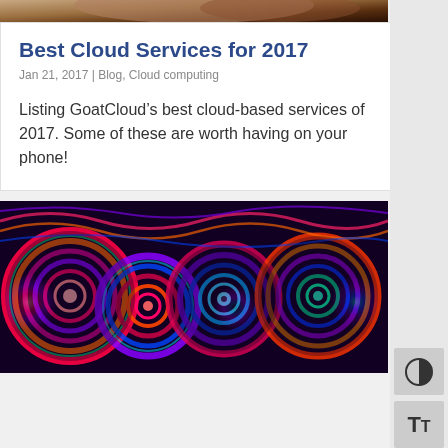[Figure (photo): Partial top image showing a dark background, likely a person or object, cropped at top of page]
Best Cloud Services for 2017
Jan 21, 2017 | Blog, Cloud computing
Listing GoatCloud’s best cloud-based services of 2017. Some of these are worth having on your phone!
[Figure (photo): Colorful abstract image with swirling concentric circles in red, blue, purple, green, and orange tones]
[Figure (other): Sidebar with contrast toggle button (half-filled circle icon) and text size toggle button (TT icon)]